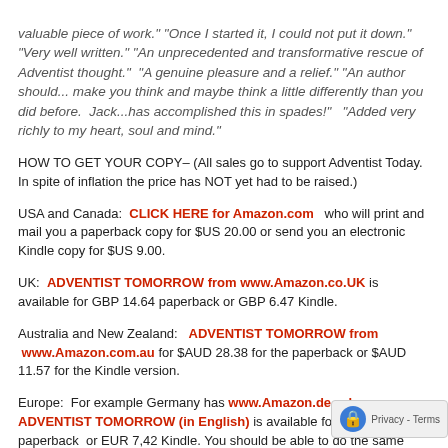valuable piece of work." "Once I started it, I could not put it down."  "Very well written." "An unprecedented and transformative rescue of Adventist thought."  "A genuine pleasure and a relief." "An author should... make you think and maybe think a little differently than you did before.  Jack...has accomplished this in spades!"  "Added very richly to my heart, soul and mind."
HOW TO GET YOUR COPY– (All sales go to support Adventist Today.  In spite of inflation the price has NOT yet had to be raised.)
USA and Canada:  CLICK HERE for Amazon.com   who will print and mail you a paperback copy for $US 20.00 or send you an electronic Kindle copy for $US 9.00.
UK:  ADVENTIST TOMORROW from www.Amazon.co.UK is available for GBP 14.64 paperback or GBP 6.47 Kindle.
Australia and New Zealand:  ADVENTIST TOMORROW from www.Amazon.com.au for $AUD 28.38 for the paperback or $AUD 11.57 for the Kindle version.
Europe:  For example Germany has www.Amazon.de  where ADVENTIST TOMORROW (in English) is available for EUR 17,41 paperback  or EUR 7,42 Kindle. You should be able to do the same with Amazon.[fr/es/it].